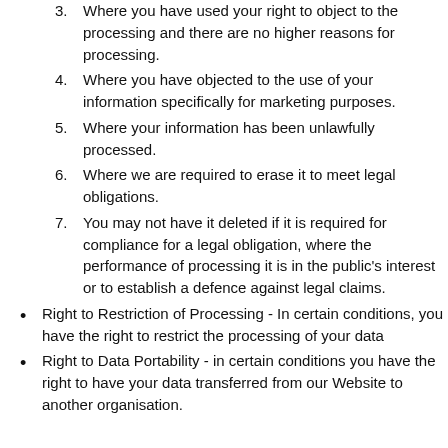3. Where you have used your right to object to the processing and there are no higher reasons for processing.
4. Where you have objected to the use of your information specifically for marketing purposes.
5. Where your information has been unlawfully processed.
6. Where we are required to erase it to meet legal obligations.
7. You may not have it deleted if it is required for compliance for a legal obligation, where the performance of processing it is in the public's interest or to establish a defence against legal claims.
Right to Restriction of Processing - In certain conditions, you have the right to restrict the processing of your data
Right to Data Portability - in certain conditions you have the right to have your data transferred from our Website to another organisation.